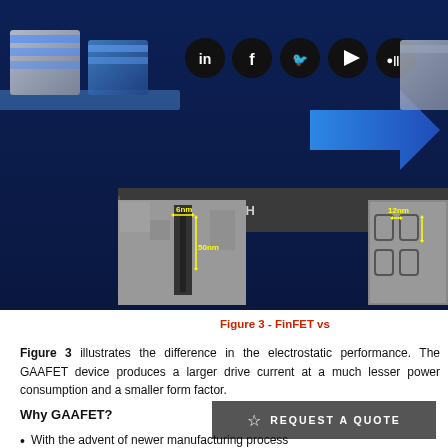[Figure (screenshot): Dark blue background with 3D rendered processor/chip block shapes and social media icons (LinkedIn, Facebook, Twitter, YouTube, Medium) overlaid. Below is a dark search bar with magnifying glass icon and 'SEARCH' text. Two electron microscopy images of semiconductor structures (FinFET cross-sections) with yellow dimension annotations showing 6nm and 50nm on left image, and 12nm on right image.]
Figure 3 - FinFET vs
Figure 3 illustrates the difference in the electrostatic performance. The GAAFET device produces a larger drive current at a much lesser power consumption and a smaller form factor.
Why GAAFET?
With the advent of newer manufacturing process